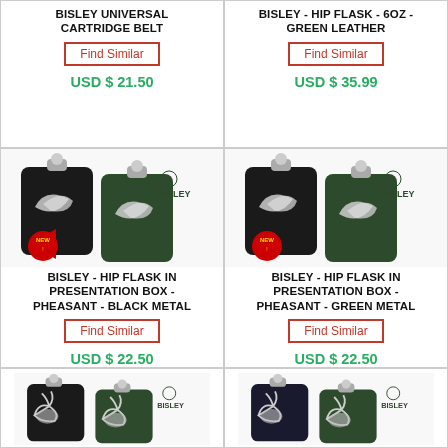BISLEY UNIVERSAL CARTRIDGE BELT
Find Similar
USD $ 21.50
BISLEY - HIP FLASK - 6OZ - GREEN LEATHER
Find Similar
USD $ 35.99
[Figure (photo): Two Bisley hip flasks (black and dark green) with pheasant emblem and NEW badge. Bisley logo visible.]
BISLEY - HIP FLASK IN PRESENTATION BOX - PHEASANT - BLACK METAL
Find Similar
USD $ 22.50
[Figure (photo): Two Bisley hip flasks (black and dark green) with pheasant emblem and NEW badge. Bisley logo visible.]
BISLEY - HIP FLASK IN PRESENTATION BOX - PHEASANT - GREEN METAL
Find Similar
USD $ 22.50
[Figure (photo): Two Bisley hip flasks (black) with stag/deer emblem. Bisley logo visible.]
[Figure (photo): Two Bisley hip flasks (dark green) with stag/deer emblem. Bisley logo visible.]